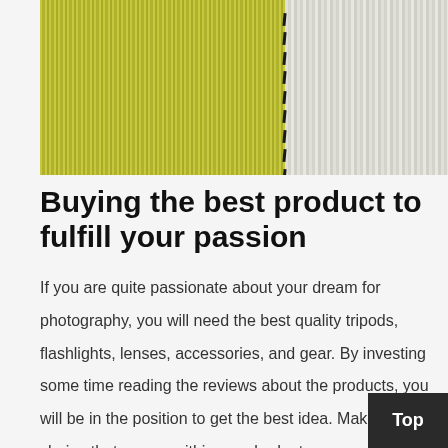[Figure (photo): Close-up photo of two carpet textures side by side: yellow-green shaggy carpet on the left and white/gray shaggy carpet on the right, with a stitched seam visible between them.]
Buying the best product to fulfill your passion
If you are quite passionate about your dream for photography, you will need the best quality tripods, flashlights, lenses, accessories, and gear. By investing some time reading the reviews about the products, you will be in the position to get the best idea. Make the apt choice that comes within your budget….